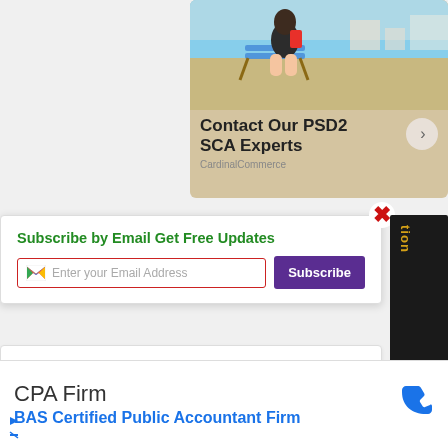[Figure (photo): Advertisement banner for CardinalCommerce PSD2 SCA Experts showing a person sitting on a beach chair using a smartphone, with a button/arrow CTA]
Contact Our PSD2 SCA Experts
CardinalCommerce
Subscribe by Email Get Free Updates
Enter your Email Address
Subscribe
Forget To Join US Our Community
CPA Firm
BAS Certified Public Accountant Firm